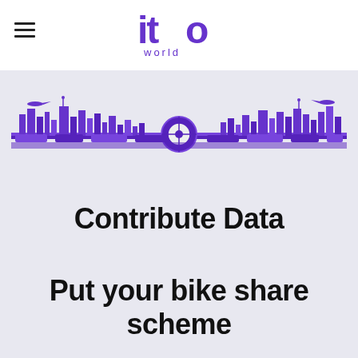[Figure (logo): ITO World logo — stylized 'ito' text with infinity-like 'o' and 'world' below, in purple]
[Figure (illustration): Purple city skyline illustration with buildings, trains, planes, and a circular target/crosshair in the center, spanning the full width]
Contribute Data
Put your bike share scheme